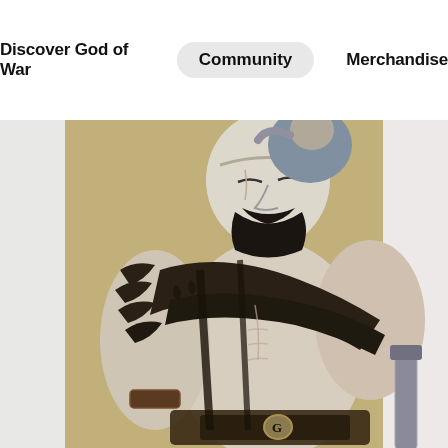Discover God of War   Community   Merchandise
[Figure (illustration): Fan art illustration of Kratos from God of War, depicted as a muscular bald warrior with white skin, black beard, carrying a child on his back, wearing dark leather armor and straps across his chest, holding a weapon, set against a tan/olive background. The art style is anime/manga-influenced.]